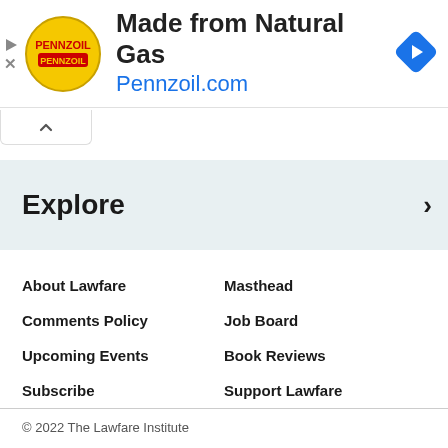[Figure (illustration): Pennzoil advertisement banner with logo, headline 'Made from Natural Gas', URL 'Pennzoil.com', and navigation arrow icon]
^
Explore >
About Lawfare
Masthead
Comments Policy
Job Board
Upcoming Events
Book Reviews
Subscribe
Support Lawfare
© 2022 The Lawfare Institute